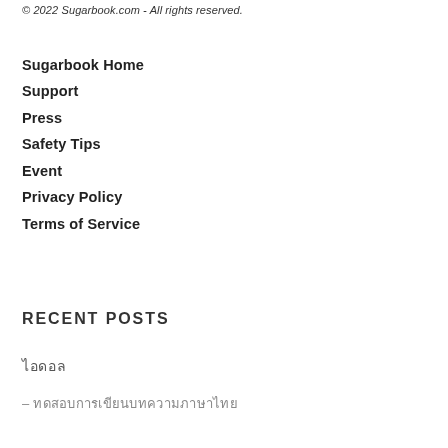© 2022 Sugarbook.com - All rights reserved.
Sugarbook Home
Support
Press
Safety Tips
Event
Privacy Policy
Terms of Service
Recent Posts
ไอดอล
– ทดสอบการเขียนบทความภาษาไทย